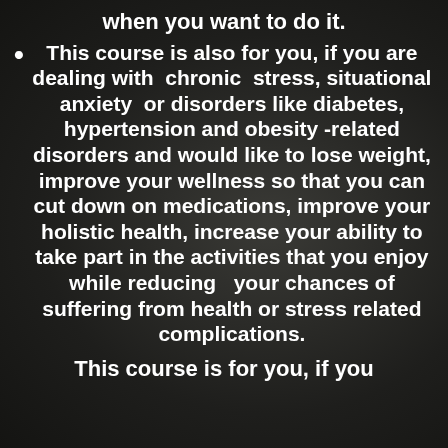when you want to do it.
This course is also for you, if you are dealing with  chronic  stress, situational anxiety  or disorders like diabetes, hypertension and obesity -related disorders and would like to lose weight, improve your wellness so that you can cut down on medications, improve your holistic health, increase your ability to take part in the activities that you enjoy while reducing   your chances of suffering from health or stress related complications.
This course is for you, if you